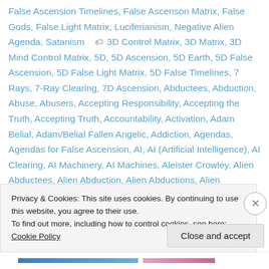False Ascension Timelines, False Ascenson Matrix, False Gods, False Light Matrix, Luciferianism, Negative Alien Agenda, Satanism  [tag icon]  3D Control Matrix, 3D Matrix, 3D Mind Control Matrix, 5D, 5D Ascension, 5D Earth, 5D False Ascension, 5D False Light Matrix, 5D False Timelines, 7 Rays, 7-Ray Clearing, 7D Ascension, Abductees, Abduction, Abuse, Abusers, Accepting Responsibility, Accepting the Truth, Accepting Truth, Accountability, Activation, Adam Belial, Adam/Belial Fallen Angelic, Addiction, Agendas, Agendas for False Ascension, AI, AI (Artificial Intelligence), AI Clearing, AI Machinery, AI Machines, Aleister Crowley, Alien Abductees, Alien Abduction, Alien Abductions, Alien Deception, Alien
Privacy & Cookies: This site uses cookies. By continuing to use this website, you agree to their use.
To find out more, including how to control cookies, see here: Cookie Policy